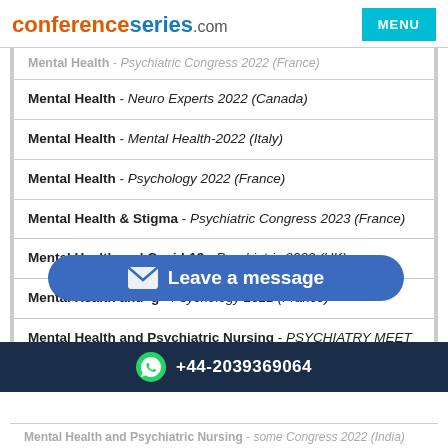conferenceseries.com | MENU
Mental Health - Psychiatric Congress 2022 (France) [partially visible, faded]
Mental Health - Neuro Experts 2022 (Canada)
Mental Health - Mental Health-2022 (Italy)
Mental Health - Psychology 2022 (France)
Mental Health & Stigma - Psychiatric Congress 2023 (France)
Mental Health and Covid-19 - Psychiatric 2022 (UK)
Mental Health and [Psychology/Wellbeing] - Psychology 2022 (France)
Mental Health and Psychiatric Nursing - PSYCHIATRY MEET 2022 (Switzerland)
+44-2039369064
Mental Health and Psychiatric Nursing - [Congress 2022 (India)] [partially visible]